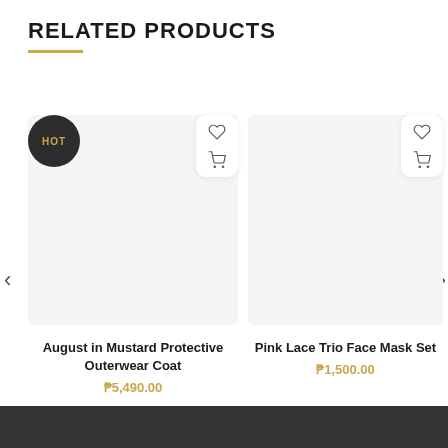RELATED PRODUCTS
[Figure (screenshot): Product card for 'August in Mustard Protective Outerwear Coat' with HOT badge, heart and cart icons, priced at ₱5,490.00]
[Figure (screenshot): Product card for 'Pink Lace Trio Face Mask Set' with heart and cart icons, priced at ₱1,500.00]
August in Mustard Protective Outerwear Coat
₱5,490.00
Pink Lace Trio Face Mask Set
₱1,500.00